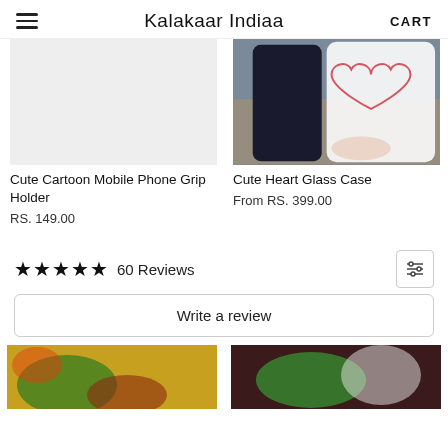Kalakaar Indiaa | CART
[Figure (photo): Product image placeholder for Cute Cartoon Mobile Phone Grip Holder — blank/light gray area]
[Figure (photo): Photo of a person holding a phone case with a heart outline (Cute Heart Glass Case)]
Cute Cartoon Mobile Phone Grip Holder
RS. 149.00
Cute Heart Glass Case
From RS. 399.00
★★★★★ 60 Reviews
Write a review
[Figure (photo): Thumbnail product image with colorful floral/yellow pattern — partially visible at bottom left]
[Figure (photo): Thumbnail product image with dark background and colorful object — partially visible at bottom right]